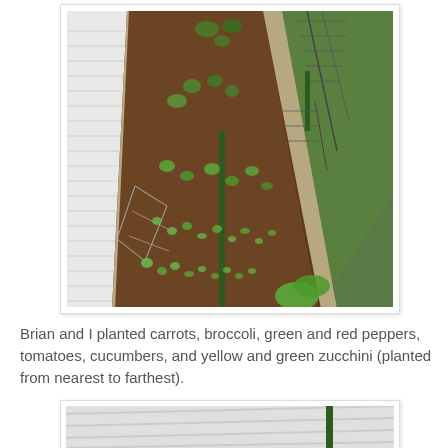[Figure (photo): Aerial/overhead view of a raised garden bed or narrow garden plot between a white house siding and a fence. The bed shows freshly tilled dark soil with small seedlings planted in rows. Green grass is visible on the right side beyond a wire fence. A tomato cage is visible on the left. The perspective is from above, looking down the length of the garden.]
Brian and I planted carrots, broccoli, green and red peppers, tomatoes, cucumbers, and yellow and green zucchini (planted from nearest to farthest).
[Figure (photo): Partial view of another outdoor photo, showing diagonal white siding and the top of a green fence post or garden structure, partially cropped at the bottom of the page.]